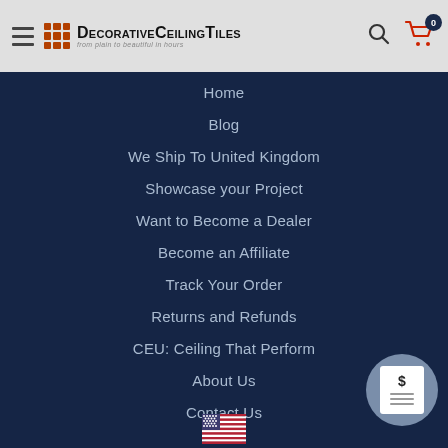DecorativeCeilingTiles — from plain to beautiful in hours
Home
Blog
We Ship To United Kingdom
Showcase your Project
Want to Become a Dealer
Become an Affiliate
Track Your Order
Returns and Refunds
CEU: Ceiling That Perform
About Us
Contact Us
[Figure (illustration): US flag circular icon at bottom center]